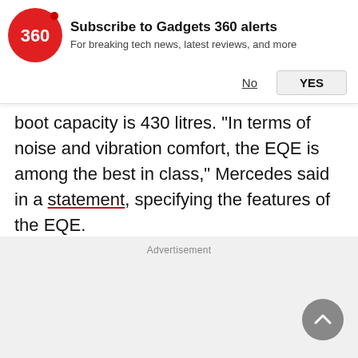[Figure (logo): Gadgets 360 red circular logo with '360' text in white]
Subscribe to Gadgets 360 alerts
For breaking tech news, latest reviews, and more
No   YES
boot capacity is 430 litres. “In terms of noise and vibration comfort, the EQE is among the best in class,” Mercedes said in a statement, specifying the features of the EQE.
Advertisement